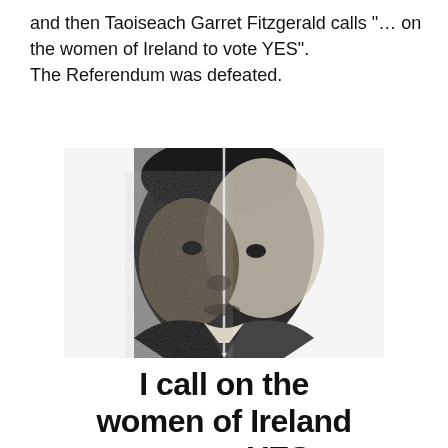and then Taoiseach Garret Fitzgerald calls "… on the women of Ireland to vote YES". The Referendum was defeated.
[Figure (photo): Black and white newspaper-style photograph of Taoiseach Garret Fitzgerald's face, split down the middle, accompanied by large bold text reading 'I call on the women of Ireland to vote YES']